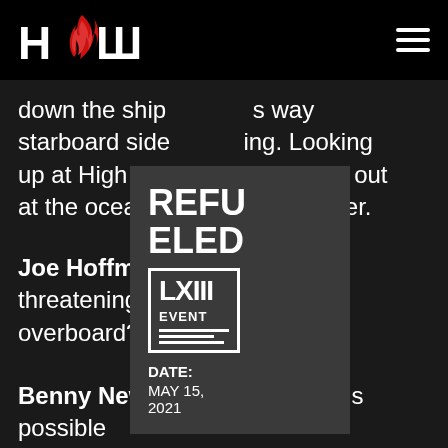HOW (logo) — hamburger menu
down the ship s way starboard side ing. Looking up at High Flyer sant looks out at the ocean a at High Flyer.
[Figure (infographic): Popup overlay showing event info: REFUELED LXIII EVENT DATE: MAY 15, 2021]
Joe Hoffman: Is he threatening to yer overboard?!
Benny Newell: Yeah anything is possible with this crazy fucker. One thing's for sure,